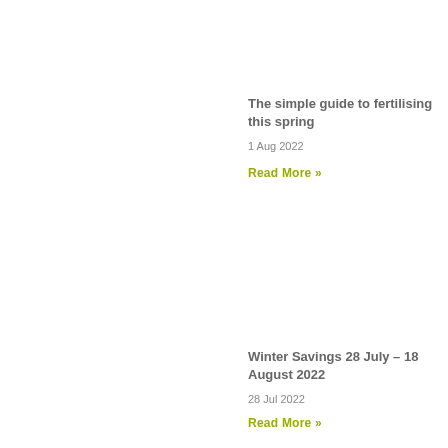The simple guide to fertilising this spring
1 Aug 2022
Read More »
Winter Savings 28 July – 18 August 2022
28 Jul 2022
Read More »